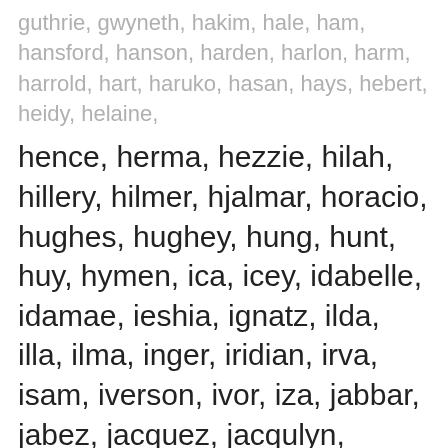guthrie, gwyneth, hakim, hale, ham, hansford, hanson, harden, harlon, harm, harrold, hart, haruko, hasan, hays, hebert, heidy, helaine,
hence, herma, hezzie, hilah, hillery, hilmer, hjalmar, horacio, hughes, hughey, hung, hunt, huy, hymen, ica, icey, idabelle, idamae, ieshia, ignatz, ilda, illa, ilma, inger, iridian, irva, isam, iverson, ivor, iza, jabbar, jabez, jacquez, jacqulyn, jaheem, jahir, jajuan, jalissa, jaquez, jasmyne, jaycie, jayvon, jeanmarie, jelani, jemal, jenilee, jep,
We use cookies on our website to give you the most relevant experience by remembering your preferences and repeat visits. By clicking “Accept”, you consent to the use of ALL the cookies.
Do not sell my personal information.